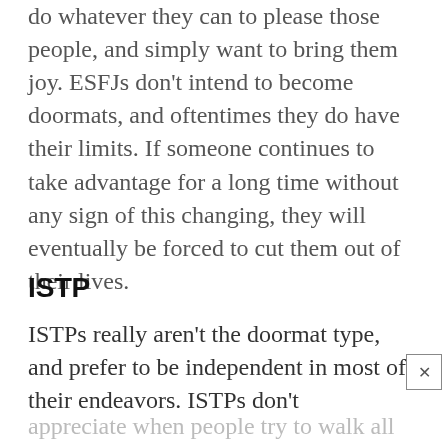do whatever they can to please those people, and simply want to bring them joy. ESFJs don't intend to become doormats, and oftentimes they do have their limits. If someone continues to take advantage for a long time without any sign of this changing, they will eventually be forced to cut them out of their lives.
ISTP
ISTPs really aren't the doormat type, and prefer to be independent in most of their endeavors. ISTPs don't
appreciate when people try to walk all over them, and won't be afraid to